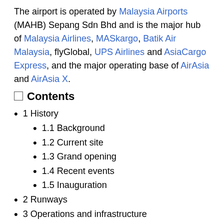The airport is operated by Malaysia Airports (MAHB) Sepang Sdn Bhd and is the major hub of Malaysia Airlines, MASkargo, Batik Air Malaysia, flyGlobal, UPS Airlines and AsiaCargo Express, and the major operating base of AirAsia and AirAsia X.
Contents
1 History
1.1 Background
1.2 Current site
1.3 Grand opening
1.4 Recent events
1.5 Inauguration
2 Runways
3 Operations and infrastructure
4 Terminals
4.1 KLIA
4.1.1 Main Terminal Building